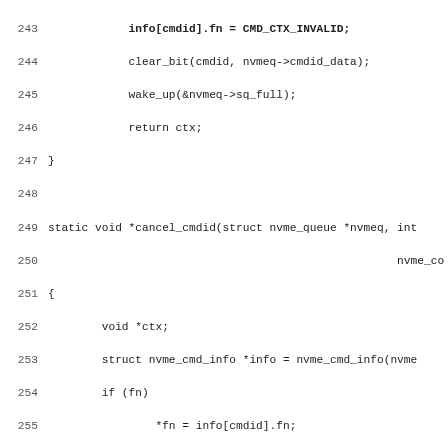Source code listing lines 243-275, showing C functions: cancel_cmdid, get_nvmeq, put_nvmeq, and start of nvme_submit_cmd documentation block.